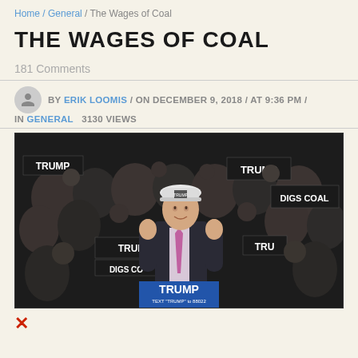Home / General / The Wages of Coal
THE WAGES OF COAL
181 Comments
BY ERIK LOOMIS / ON DECEMBER 9, 2018 / AT 9:36 PM / IN GENERAL   3130 VIEWS
[Figure (photo): Photo of a man in a suit wearing a white hard hat with a Trump logo, giving two thumbs up at a rally podium labeled TRUMP. Behind him is a large crowd holding TRUMP DIGS COAL signs.]
X